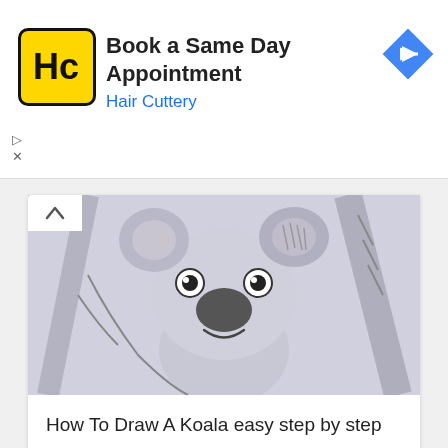[Figure (other): Hair Cuttery advertisement banner with yellow logo showing HC letters, text 'Book a Same Day Appointment' and 'Hair Cuttery' in blue, and a blue diamond navigation arrow icon on the right]
[Figure (illustration): Pencil sketch drawing of a cute koala bear clinging to a tree branch, with cartoon-style large eyes and rounded ears]
How To Draw A Koala easy step by step
HTTH   September 15, 2018
[Figure (illustration): Partial pencil sketch drawing showing beginnings of an animal drawing at the bottom of the page]